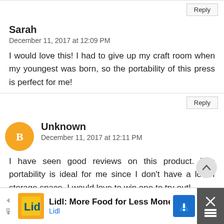Reply
Sarah
December 11, 2017 at 12:09 PM
I would love this! I had to give up my craft room when my youngest was born, so the portability of this press is perfect for me!
Reply
Unknown
December 11, 2017 at 12:11 PM
I have seen good reviews on this product. The portability is ideal for me since I don't have a lot of storage space. I would love to win one to try out!
Reply
Lidl: More Food for Less Money
Lidl